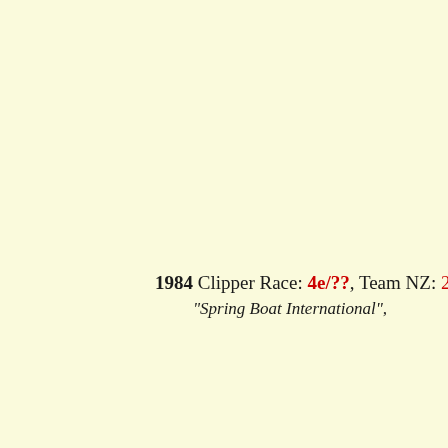1984 Clipper Race: 4e/??, Team NZ: 2e/??
"Spring Boat International",